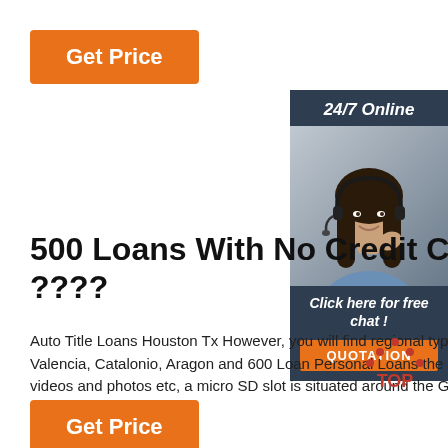[Figure (other): Orange 'Get Price' button at top left]
[Figure (other): Sidebar with '24/7 Online' header, photo of woman with headset, 'Click here for free chat!' text, and orange QUOTATION button]
500 Loans With No Credit Check ????
Auto Title Loans Houston Tx However, you will find regional types of Spanish folk music through Castile, Asturais, Valencia, Catalonio, Aragon and 600 Loan Personal Loans the Basque Nation. With regard to storage of music files, videos and photos etc, a micro SD slot is situated around the Get A Loan By Phone ...
[Figure (other): TOP badge with orange dots forming an upward arrow above the word TOP]
[Figure (other): Orange 'Get Price' button at bottom left]